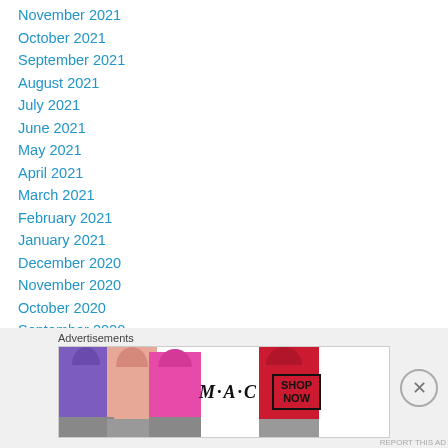November 2021
October 2021
September 2021
August 2021
July 2021
June 2021
May 2021
April 2021
March 2021
February 2021
January 2021
December 2020
November 2020
October 2020
September 2020
August 2020
July 2020
[Figure (photo): MAC cosmetics advertisement showing lipsticks with SHOP NOW button]